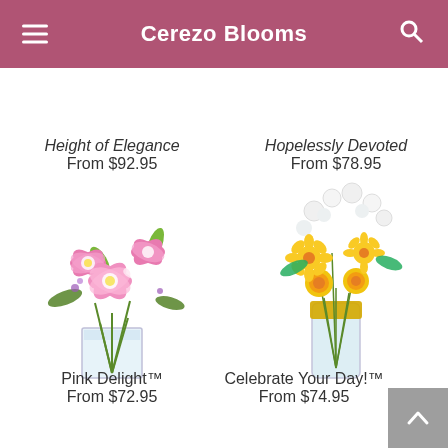Cerezo Blooms
Height of Elegance
From $92.95
Hopelessly Devoted
From $78.95
[Figure (photo): Pink stargazer lilies in a square glass vase, labeled Pink Delight™]
Pink Delight™
From $72.95
[Figure (photo): Yellow gerbera daisies, roses, and white flowers in a tall glass vase with gold band, labeled Celebrate Your Day!™]
Celebrate Your Day!™
From $74.95